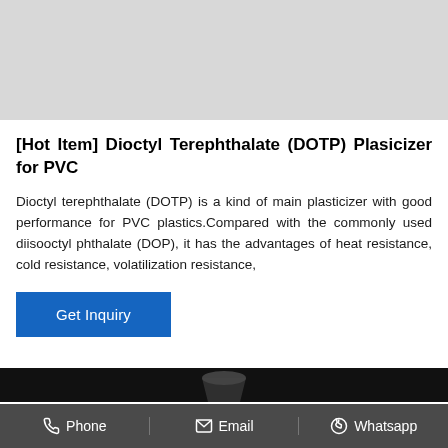[Figure (photo): Partial product photo at top, light gray background]
[Hot Item] Dioctyl Terephthalate (DOTP) Plasicizer for PVC
Dioctyl terephthalate (DOTP) is a kind of main plasticizer with good performance for PVC plastics.Compared with the commonly used diisooctyl phthalate (DOP), it has the advantages of heat resistance, cold resistance, volatilization resistance,
[Figure (other): Get Inquiry button - blue rectangle with white text]
[Figure (photo): Bottom product photo showing a glass beaker/cup on dark background, partially visible]
Phone   Email   Whatsapp